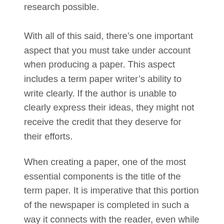research possible.
With all of this said, there’s one important aspect that you must take under account when producing a paper. This aspect includes a term paper writer’s ability to write clearly. If the author is unable to clearly express their ideas, they might not receive the credit that they deserve for their efforts.
When creating a paper, one of the most essential components is the title of the term paper. It is imperative that this portion of the newspaper is completed in such a way it connects with the reader, even while at precisely the identical time being as short as you can. In case the name isn’t apparent enough, then the reader might be confused, which may be